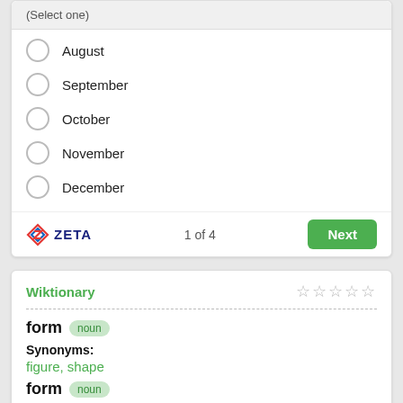(Select one)
August
September
October
November
December
ZETA  1 of 4  Next
Wiktionary
form  noun
Synonyms: figure, shape
form  noun